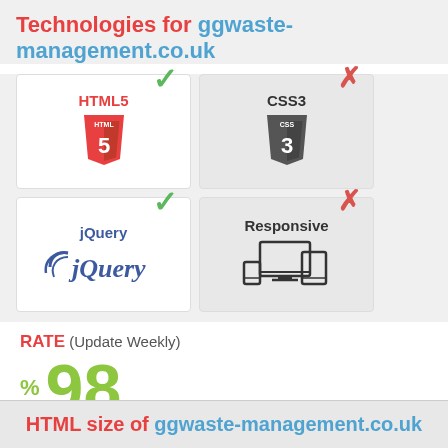Technologies for ggwaste-management.co.uk
[Figure (infographic): Four technology cards in a 2x2 grid. HTML5 (green checkmark, detected), CSS3 (red X, not detected), jQuery (green checkmark, detected), Responsive (red X, not detected).]
RATE (Update Weekly) % 98
HTML size of ggwaste-management.co.uk